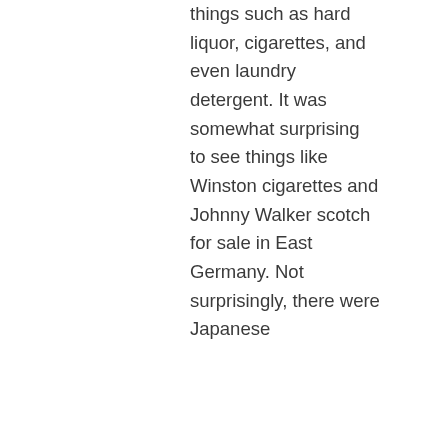things such as hard liquor, cigarettes, and even laundry detergent. It was somewhat surprising to see things like Winston cigarettes and Johnny Walker scotch for sale in East Germany. Not surprisingly, there were Japanese